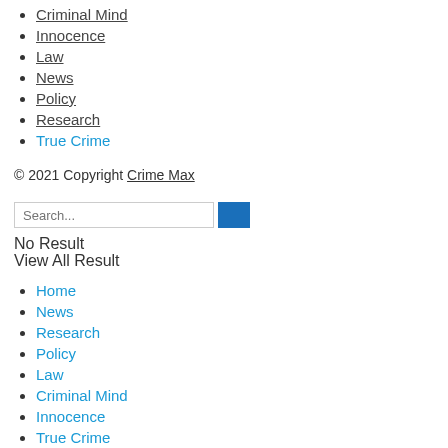Criminal Mind
Innocence
Law
News
Policy
Research
True Crime
© 2021 Copyright Crime Max
Search...
No Result
View All Result
Home
News
Research
Policy
Law
Criminal Mind
Innocence
True Crime